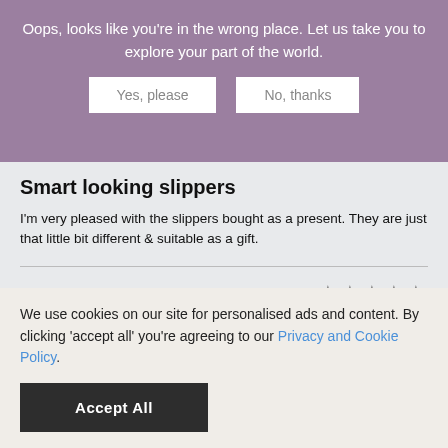Oops, looks like you're in the wrong place. Let us take you to explore your part of the world.
Yes, please | No, thanks
Smart looking slippers
I'm very pleased with the slippers bought as a present. They are just that little bit different & suitable as a gift.
Melinda M.
Sent them to my daughter
Sent them to my daughter for Christmas. She said they were beautiful slippers. Too pretty to wear!
We use cookies on our site for personalised ads and content. By clicking 'accept all' you're agreeing to our Privacy and Cookie Policy.
Accept All